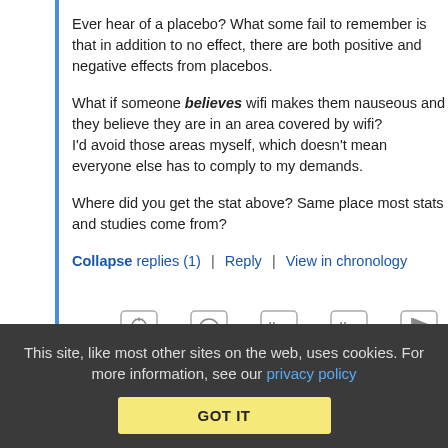Ever hear of a placebo? What some fail to remember is that in addition to no effect, there are both positive and negative effects from placebos.
What if someone believes wifi makes them nauseous and they believe they are in an area covered by wifi? I'd avoid those areas myself, which doesn't mean everyone else has to comply to my demands.
Where did you get the stat above? Same place most stats and studies come from?
Collapse replies (1) | Reply | View in chronology
[Figure (other): Row of comment action icons: lightbulb, smiley face, open quote, closed quote, flag]
This site, like most other sites on the web, uses cookies. For more information, see our privacy policy
GOT IT